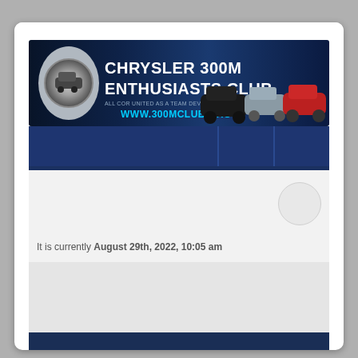[Figure (logo): Chrysler 300M Enthusiasts Club banner with logo, club name, website URL www.300mclub.org, and three cars (black, silver, red)]
It is currently August 29th, 2022, 10:05 am
| OUR CLUB AND YOU | STATISTICS | LAST POST |
| --- | --- | --- |